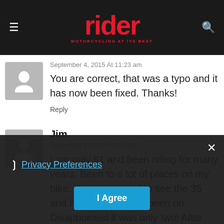rider MOTORCYCLING AT ITS BEST
September 4, 2015 At 11:23 am
You are correct, that was a typo and it has now been fixed. Thanks!
Reply
Jim
September 4, 2015 At 1:24 pm
I am only 61 and been riding for many years. Been to a lot of places on my bike. So was excited to see the 35 and how many I have been on. Disappointed it was only two! After having a hard down a few years back and losing my bike. I cant wait to recover financially that new bike and make the other this list!!
Privacy Preferences
I Agree